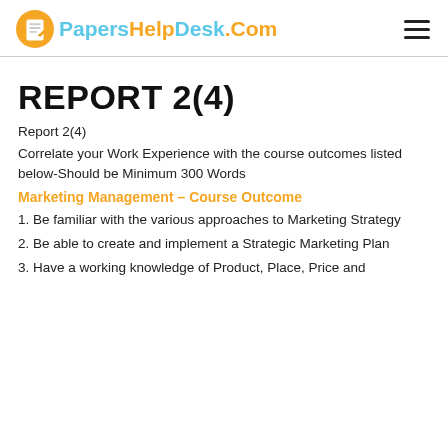[Figure (logo): PapersHelpDesk.Com logo with orange circle icon containing a pencil/document, and stylized text logo in blue and orange colors. Hamburger menu icon on the right.]
REPORT 2(4)
Report 2(4)
Correlate your Work Experience with the course outcomes listed below-Should be Minimum 300 Words
Marketing Management – Course Outcome
1. Be familiar with the various approaches to Marketing Strategy
2. Be able to create and implement a Strategic Marketing Plan
3. Have a working knowledge of Product, Place, Price and...